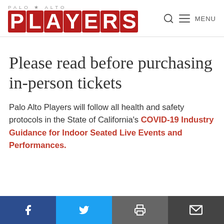PALO ALTO PLAYERS – site header with logo and navigation (search, menu)
Please read before purchasing in-person tickets
Palo Alto Players will follow all health and safety protocols in the State of California's COVID-19 Industry Guidance for Indoor Seated Live Events and Performances.
Social share bar: Facebook, Twitter, Print, Email